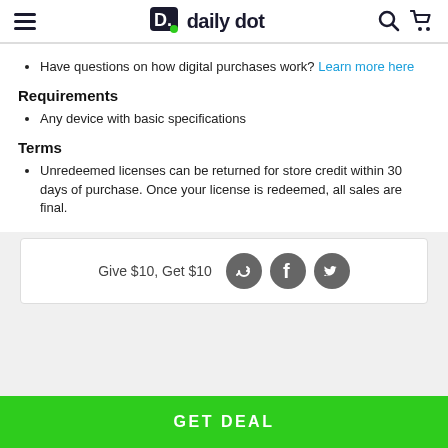daily dot
Have questions on how digital purchases work? Learn more here
Requirements
Any device with basic specifications
Terms
Unredeemed licenses can be returned for store credit within 30 days of purchase. Once your license is redeemed, all sales are final.
Give $10, Get $10
GET DEAL